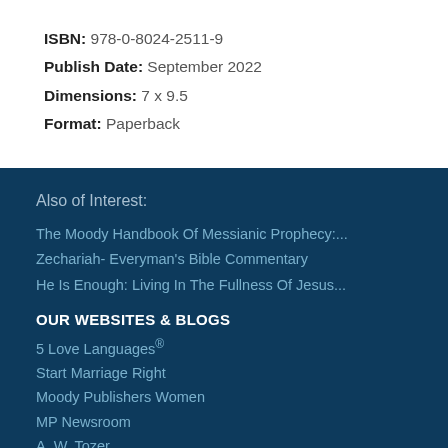ISBN: 978-0-8024-2511-9
Publish Date: September 2022
Dimensions: 7 x 9.5
Format: Paperback
Also of Interest:
The Moody Handbook Of Messianic Prophecy:...
Zechariah- Everyman's Bible Commentary
He Is Enough: Living In The Fullness Of Jesus...
OUR WEBSITES & BLOGS
5 Love Languages®
Start Marriage Right
Moody Publishers Women
MP Newsroom
A. W. Tozer